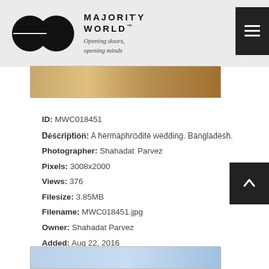MAJORITY WORLD™ — Opening doors, opening minds
[Figure (screenshot): Navigation menu icon (hamburger list icon) in dark square, top right of header]
[Figure (photo): Partial image strip showing a warm-toned photograph, partially visible at top of page below header]
ID: MWC018451
Description: A hermaphrodite wedding. Bangladesh.
Photographer: Shahadat Parvez
Pixels: 3008x2000
Views: 376
Filesize: 3.85MB
Filename: MWC018451.jpg
Owner: Shahadat Parvez
Added: Aug 22, 2016
[Figure (photo): Partial image strip at bottom of page, light blue toned photograph, partially visible]